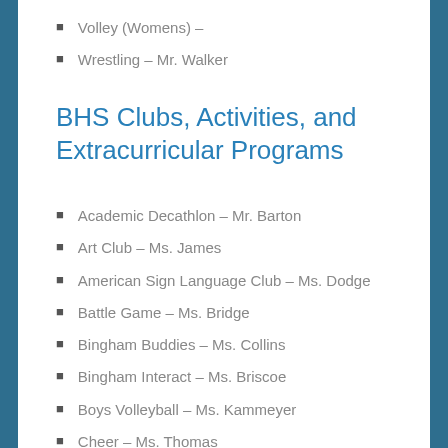Volley (Womens) –
Wrestling – Mr. Walker
BHS Clubs, Activities, and Extracurricular Programs
Academic Decathlon – Mr. Barton
Art Club – Ms. James
American Sign Language Club – Ms. Dodge
Battle Game – Ms. Bridge
Bingham Buddies – Ms. Collins
Bingham Interact – Ms. Briscoe
Boys Volleyball – Ms. Kammeyer
Cheer – Ms. Thomas